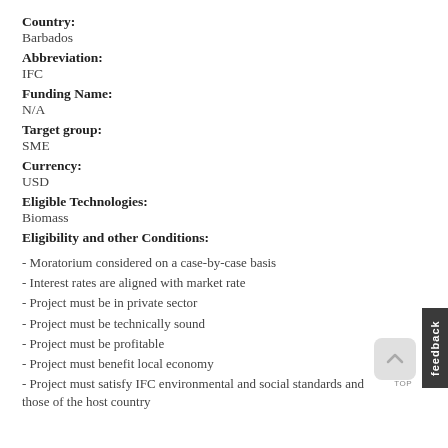Country:
Barbados
Abbreviation:
IFC
Funding Name:
N/A
Target group:
SME
Currency:
USD
Eligible Technologies:
Biomass
Eligibility and other Conditions:
- Moratorium considered on a case-by-case basis
- Interest rates are aligned with market rate
- Project must be in private sector
- Project must be technically sound
- Project must be profitable
- Project must benefit local economy
- Project must satisfy IFC environmental and social standards and those of the host country